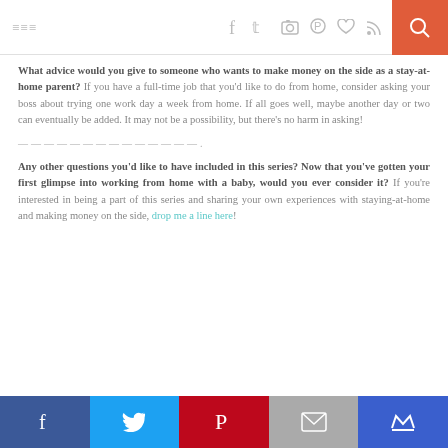≡  [social icons]  [search]
What advice would you give to someone who wants to make money on the side as a stay-at-home parent? If you have a full-time job that you'd like to do from home, consider asking your boss about trying one work day a week from home. If all goes well, maybe another day or two can eventually be added. It may not be a possibility, but there's no harm in asking!
——————————————.
Any other questions you'd like to have included in this series? Now that you've gotten your first glimpse into working from home with a baby, would you ever consider it? If you're interested in being a part of this series and sharing your own experiences with staying-at-home and making money on the side, drop me a line here!
[Facebook] [Twitter] [Pinterest] [Email] [Crown]